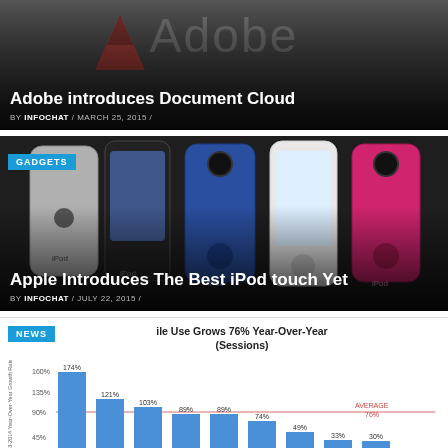[Figure (photo): Adobe logo on dark background with gradient overlay]
Adobe introduces Document Cloud
BY INFOCHAT / MARCH 25, 2015 /
[Figure (photo): Four iPod touch devices in silver, black, blue, white, and pink colors against dark background]
Apple Introduces The Best iPod touch Yet
BY INFOCHAT / JULY 22, 2015 /
[Figure (bar-chart): Mobile Use Grows 76% Year-Over-Year (Sessions)]